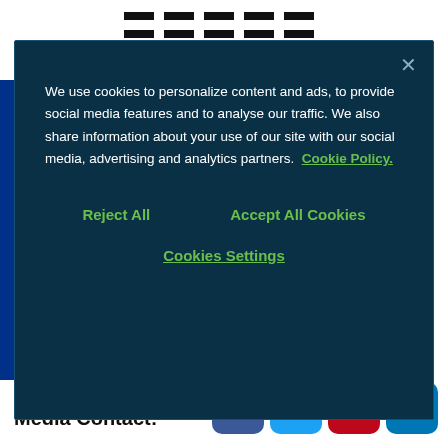[Figure (screenshot): IBM logo at top of page, partially visible behind modal]
We use cookies to personalize content and ads, to provide social media features and to analyse our traffic. We also share information about your use of our site with our social media, advertising and analytics partners.  Cookie Policy.
Reject All  Accept All Cookies
Cookies Settings
industries to transform how people work. To learn more, visit:
https://www.ibm.com/watson
Media Contact:
[Figure (other): Social media icons: Facebook, Twitter, Pinterest, LinkedIn]